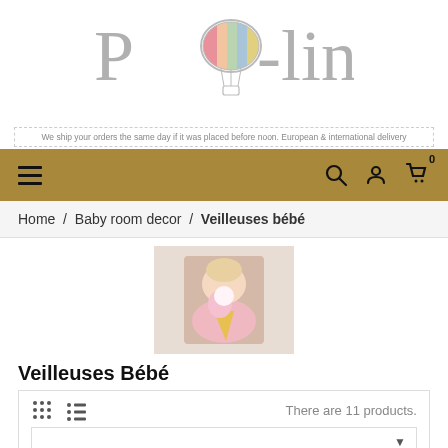[Figure (logo): POP-line brand logo with a hot air balloon graphic integrated into the letter O]
We ship your orders the same day if it was placed before noon. European & international delivery
[Figure (screenshot): Navigation bar with hamburger menu on left, search, account and cart icons on right, gold/dark yellow background]
Home / Baby room decor / Veilleuses bébé
[Figure (photo): A young child in a pink outfit holding an ice cream cone shaped night light toy]
Veilleuses Bébé
There are 11 products.